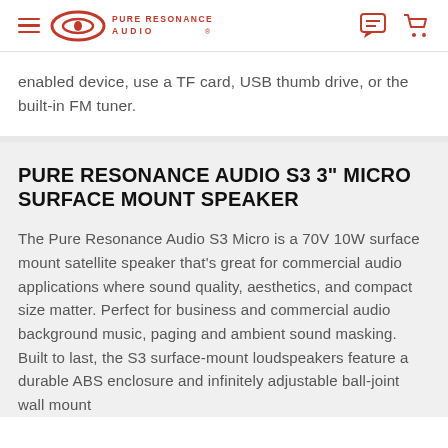Pure Resonance Audio
enabled device, use a TF card, USB thumb drive, or the built-in FM tuner.
PURE RESONANCE AUDIO S3 3" MICRO SURFACE MOUNT SPEAKER
The Pure Resonance Audio S3 Micro is a 70V 10W surface mount satellite speaker that's great for commercial audio applications where sound quality, aesthetics, and compact size matter. Perfect for business and commercial audio background music, paging and ambient sound masking. Built to last, the S3 surface-mount loudspeakers feature a durable ABS enclosure and infinitely adjustable ball-joint wall mount